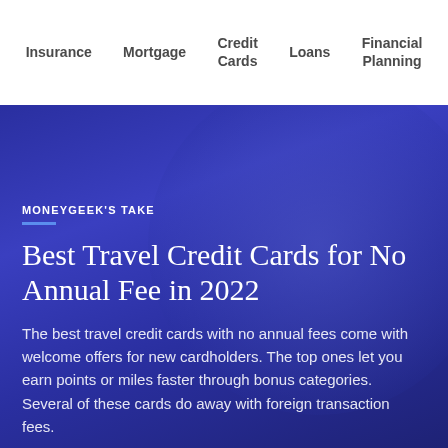Insurance  Mortgage  Credit Cards  Loans  Financial Planning
MONEYGEEK'S TAKE
Best Travel Credit Cards for No Annual Fee in 2022
The best travel credit cards with no annual fees come with welcome offers for new cardholders. The top ones let you earn points or miles faster through bonus categories. Several of these cards do away with foreign transaction fees.